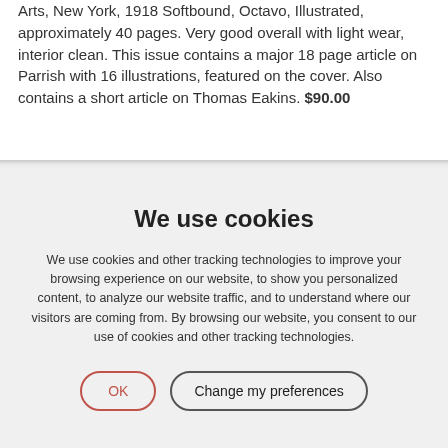Arts, New York, 1918 Softbound, Octavo, Illustrated, approximately 40 pages. Very good overall with light wear, interior clean. This issue contains a major 18 page article on Parrish with 16 illustrations, featured on the cover. Also contains a short article on Thomas Eakins. $90.00
We use cookies
We use cookies and other tracking technologies to improve your browsing experience on our website, to show you personalized content, to analyze our website traffic, and to understand where our visitors are coming from. By browsing our website, you consent to our use of cookies and other tracking technologies.
OK | Change my preferences